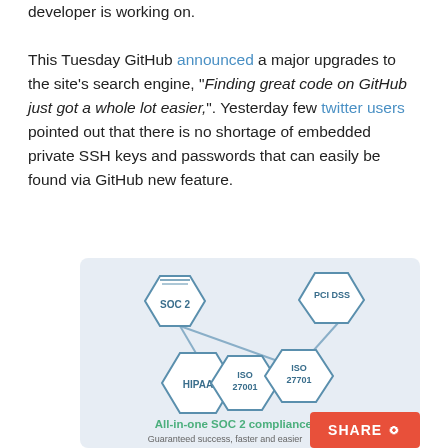developer is working on.

This Tuesday GitHub announced a major upgrades to the site's search engine, "Finding great code on GitHub just got a whole lot easier,". Yesterday few twitter users pointed out that there is no shortage of embedded private SSH keys and passwords that can easily be found via GitHub new feature.
[Figure (infographic): Compliance certification infographic showing hexagonal badges for SOC 2, PCI DSS, HIPAA, ISO 27001, and ISO 27701 connected by lines on a light blue/grey background. Bottom text: 'All-in-one SOC 2 compliance.' and 'Guaranteed success, faster and easier'. A red SHARE button overlays the bottom right.]